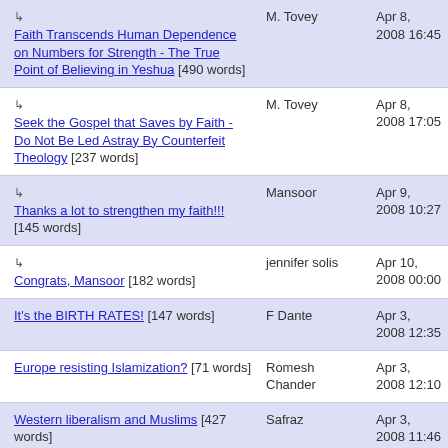↳ Faith Transcends Human Dependence on Numbers for Strength - The True Point of Believing in Yeshua [490 words] | M. Tovey | Apr 8, 2008 16:45
↳ Seek the Gospel that Saves by Faith - Do Not Be Led Astray By Counterfeit Theology [237 words] | M. Tovey | Apr 8, 2008 17:05
↳ Thanks a lot to strengthen my faith!!! [145 words] | Mansoor | Apr 9, 2008 10:27
↳ Congrats, Mansoor [182 words] | jennifer solis | Apr 10, 2008 00:00
It's the BIRTH RATES! [147 words] | F Dante | Apr 3, 2008 12:35
Europe resisting Islamization? [71 words] | Romesh Chander | Apr 3, 2008 12:10
Western liberalism and Muslims [427 words] | Safraz | Apr 3, 2008 11:46